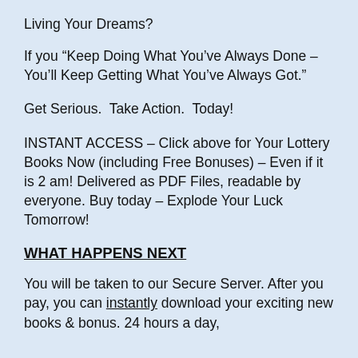Living Your Dreams?
If you “Keep Doing What You’ve Always Done – You’ll Keep Getting What You’ve Always Got.”
Get Serious.  Take Action.  Today!
INSTANT ACCESS – Click above for Your Lottery Books Now (including Free Bonuses) – Even if it is 2 am! Delivered as PDF Files, readable by everyone. Buy today – Explode Your Luck Tomorrow!
WHAT HAPPENS NEXT
You will be taken to our Secure Server. After you pay, you can instantly download your exciting new books & bonus. 24 hours a day,